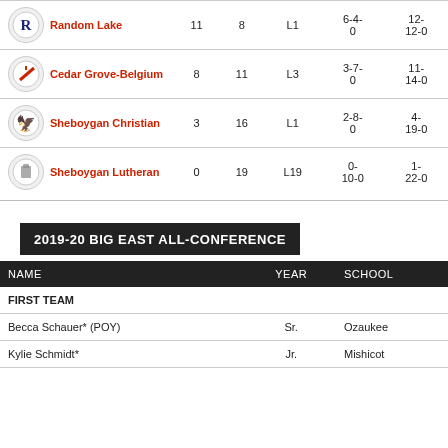| Team | W | L | Streak | Conf | Overall |
| --- | --- | --- | --- | --- | --- |
| Random Lake | 11 | 8 | L1 | 6-4-0 | 12-12-0 |
| Cedar Grove-Belgium | 8 | 11 | L3 | 3-7-0 | 11-14-0 |
| Sheboygan Christian | 3 | 16 | L1 | 2-8-0 | 4-19-0 |
| Sheboygan Lutheran | 0 | 19 | L19 | 0-10-0 | 1-22-0 |
2019-20 BIG EAST ALL-CONFERENCE
| NAME | YEAR | SCHOOL |
| --- | --- | --- |
| FIRST TEAM |  |  |
| Becca Schauer* (POY) | Sr. | Ozaukee |
| Kylie Schmidt* | Jr. | Mishicot |